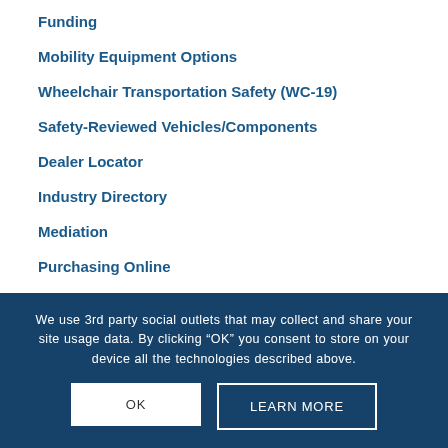Funding
Mobility Equipment Options
Wheelchair Transportation Safety (WC-19)
Safety-Reviewed Vehicles/Components
Dealer Locator
Industry Directory
Mediation
Purchasing Online
FAQs
We use 3rd party social outlets that may collect and share your site usage data. By clicking “OK” you consent to store on your device all the technologies described above.
OK
LEARN MORE